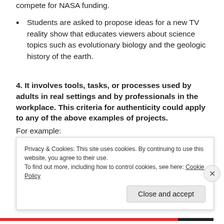compete for NASA funding.
Students are asked to propose ideas for a new TV reality show that educates viewers about science topics such as evolutionary biology and the geologic history of the earth.
4. It involves tools, tasks, or processes used by adults in real settings and by professionals in the workplace. This criteria for authenticity could apply to any of the above examples of projects.
For example:
Students investigating the physics of skateboarding
Privacy & Cookies: This site uses cookies. By continuing to use this website, you agree to their use.
To find out more, including how to control cookies, see here: Cookie Policy
Close and accept